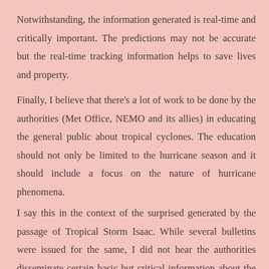Notwithstanding, the information generated is real-time and critically important. The predictions may not be accurate but the real-time tracking information helps to save lives and property.
Finally, I believe that there's a lot of work to be done by the authorities (Met Office, NEMO and its allies) in educating the general public about tropical cyclones. The education should not only be limited to the hurricane season and it should include a focus on the nature of hurricane phenomena.
I say this in the context of the surprised generated by the passage of Tropical Storm Isaac. While several bulletins were issued for the same, I did not hear the authorities disseminate certain basic but critical information about the tropical weather system; and